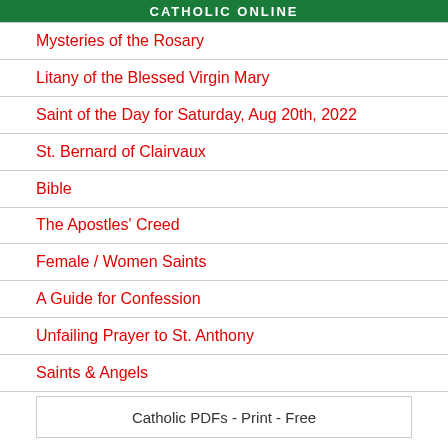CATHOLIC ONLINE
Mysteries of the Rosary
Litany of the Blessed Virgin Mary
Saint of the Day for Saturday, Aug 20th, 2022
St. Bernard of Clairvaux
Bible
The Apostles' Creed
Female / Women Saints
A Guide for Confession
Unfailing Prayer to St. Anthony
Saints & Angels
Catholic PDFs - Print - Free